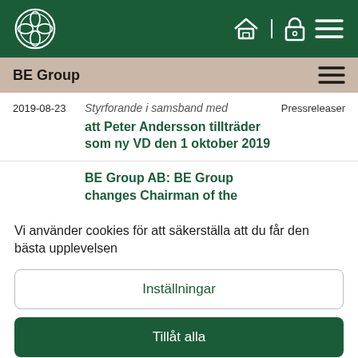BE Group
Styrforande i samsband med att Peter Andersson tillträder som ny VD den 1 oktober 2019
2019-08-23
Pressreleaser
BE Group AB: BE Group changes Chairman of the
Vi använder cookies för att säkerställa att du får den bästa upplevelsen
Inställningar
Tillåt alla
Inaktivera alla